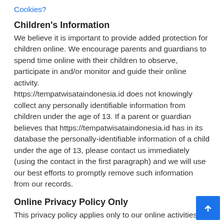Cookies?
Children's Information
We believe it is important to provide added protection for children online. We encourage parents and guardians to spend time online with their children to observe, participate in and/or monitor and guide their online activity.
https://tempatwisataindonesia.id does not knowingly collect any personally identifiable information from children under the age of 13. If a parent or guardian believes that https://tempatwisataindonesia.id has in its database the personally-identifiable information of a child under the age of 13, please contact us immediately (using the contact in the first paragraph) and we will use our best efforts to promptly remove such information from our records.
Online Privacy Policy Only
This privacy policy applies only to our online activities and is valid for visitors to our website and regarding